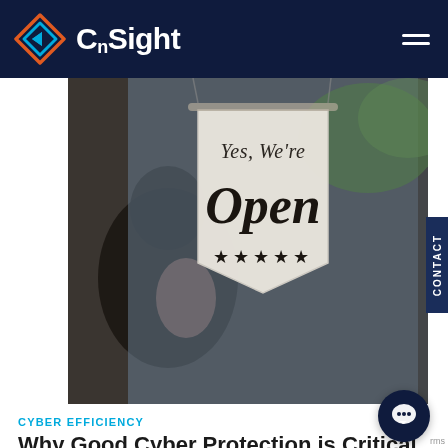CnSight
[Figure (photo): A store window with a hanging pennant sign reading 'Yes, We're Open' with five stars, a person visible in the blurred background]
CYBER EFFICIENCY
Why Good Cyber Protection is Critical for SMBs
April 27, 2021
Small and medium-sized businesses (SMBs) have had a rough go of it since the